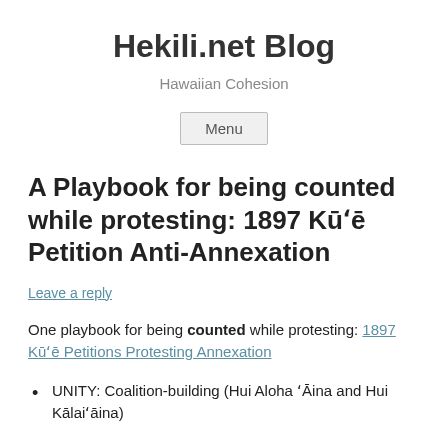Hekili.net Blog
Hawaiian Cohesion
Menu
A Playbook for being counted while protesting: 1897 Kūʻē Petition Anti-Annexation
Leave a reply
One playbook for being counted while protesting: 1897 Kūʻē Petitions Protesting Annexation
UNITY: Coalition-building (Hui Aloha ʻĀina and Hui Kālaiʻāina)